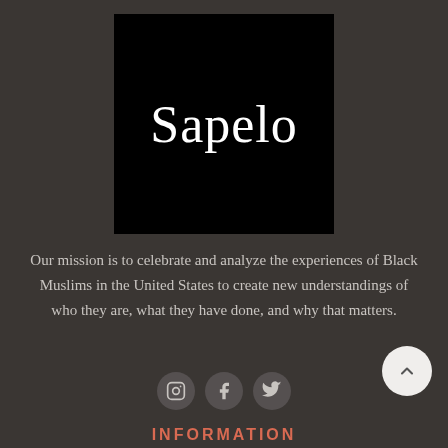[Figure (logo): Black square logo with white serif text reading 'Sapelo']
Our mission is to celebrate and analyze the experiences of Black Muslims in the United States to create new understandings of who they are, what they have done, and why that matters.
[Figure (infographic): Three social media icon circles: Instagram, Facebook, Twitter]
INFORMATION